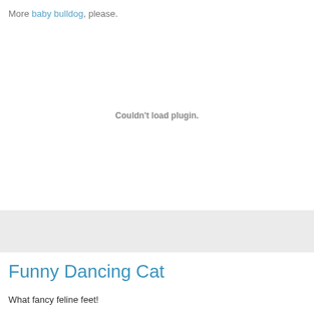More baby bulldog, please.
[Figure (other): Embedded plugin area showing 'Couldn't load plugin.' message]
[Figure (other): Gray horizontal bar / placeholder image area]
Funny Dancing Cat
What fancy feline feet!